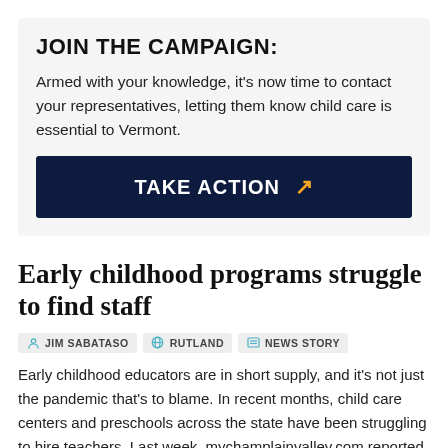JOIN THE CAMPAIGN:
Armed with your knowledge, it's now time to contact your representatives, letting them know child care is essential to Vermont.
TAKE ACTION ↗
Early childhood programs struggle to find staff
JIM SABATASO   RUTLAND   NEWS STORY
Early childhood educators are in short supply, and it's not just the pandemic that's to blame. In recent months, child care centers and preschools across the state have been struggling to hire teachers. Last week, mychamplainvalley.com reported that six Heartworks Preschool classrooms in Chittenden...